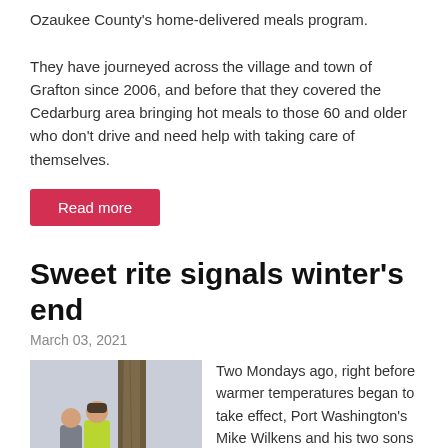Ozaukee County's home-delivered meals program. They have journeyed across the village and town of Grafton since 2006, and before that they covered the Cedarburg area bringing hot meals to those 60 and older who don't drive and need help with taking care of themselves.
Read more
Sweet rite signals winter's end
March 03, 2021
[Figure (photo): Two people in winter clothing near a large tree trunk in a snowy wooded area, one wearing a bright yellow-green jacket]
Two Mondays ago, right before warmer temperatures began to take effect, Port Washington's Mike Wilkens and his two sons made the trek to their 15-acre parcel in the Town of Farmington and trudged through the deep snow into the